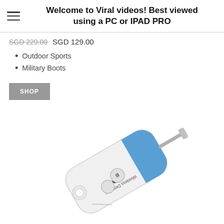Welcome to Viral videos! Best viewed using a PC or IPAD PRO
SGD 229.00  SGD 129.00
Outdoor Sports
Military Boots
SHOP
[Figure (photo): White wireless detector device with blue accent panel, two circular buttons labeled A and B, a small LED dot, and a metal antenna, photographed at an angle on white background. Text on device reads 'Wireless Detector'.]